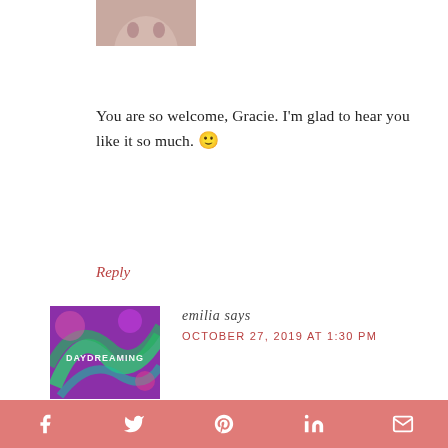[Figure (photo): Partial profile photo of a person, cropped at top]
You are so welcome, Gracie. I'm glad to hear you like it so much. 🙂
Reply
[Figure (illustration): Colorful psychedelic album art with text 'DAYDREAMING' in swirling greens and purples]
emilia says
OCTOBER 27, 2019 AT 1:30 PM
Social share bar with Facebook, Twitter, Pinterest, LinkedIn, Email icons